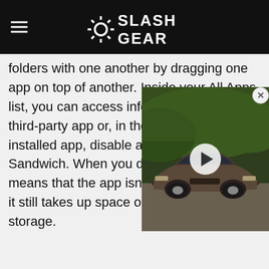SlashGear
folders with one another by dragging one app on top of another. Inside your All Apps list, you can access information about any third-party app or, in the case of a pre-installed app, disable an app in Ice Cream Sandwich. When you disable it, it simply means that the app isn't active or visible – it still takes up space on your internal storage.
[Figure (screenshot): Video overlay showing a Cadillac luxury electric car on a road with trees in background, with a play button in the center and a close button in the top right corner]